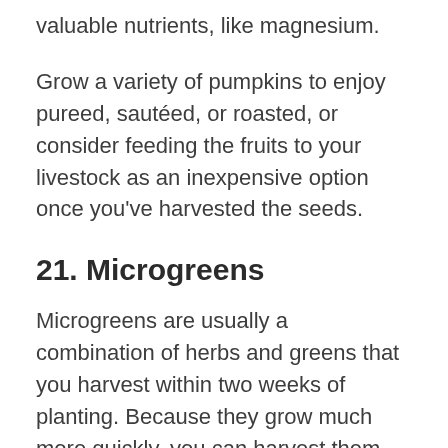valuable nutrients, like magnesium.
Grow a variety of pumpkins to enjoy pureed, sautéed, or roasted, or consider feeding the fruits to your livestock as an inexpensive option once you've harvested the seeds.
21. Microgreens
Microgreens are usually a combination of herbs and greens that you harvest within two weeks of planting. Because they grow much more quickly, you can harvest them sooner and engage in repeated harvests throughout the season.